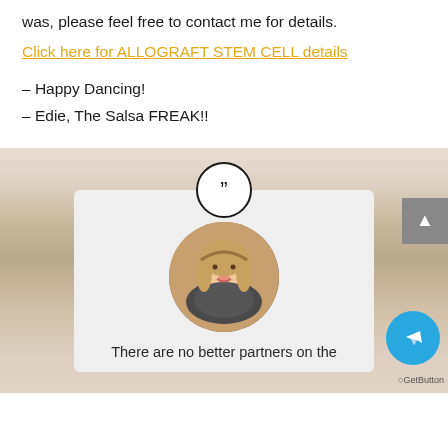was, please feel free to contact me for details.
Click here for ALLOGRAFT STEM CELL details
– Happy Dancing!
– Edie, The Salsa FREAK!!
[Figure (photo): Website section with wood-textured background, a quote icon in a circle, a circular profile photo of a smiling blonde woman, and the beginning of a testimonial text reading 'There are no better partners on the']
There are no better partners on the